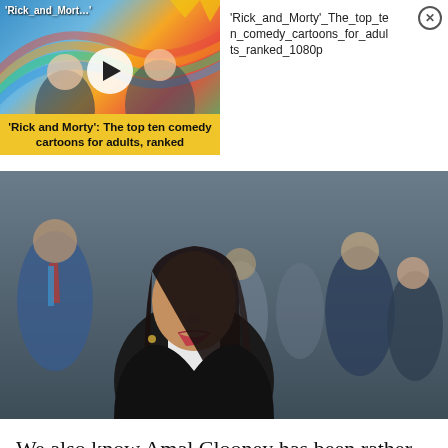[Figure (screenshot): Video thumbnail for 'Rick and Morty' top ten comedy cartoons for adults, ranked, with yellow caption bar and play button]
'Rick_and_Morty'_The_top_ten_comedy_cartoons_for_adults_ranked_1080p
[Figure (photo): Photo of Amal Clooney in a black legal robe with white collar, surrounded by men in suits in a formal setting]
We also know Amal Clooney has been rather busy with work, despite the fact she quit her position as the UK's special envoy on media freedom. (She did this because the government